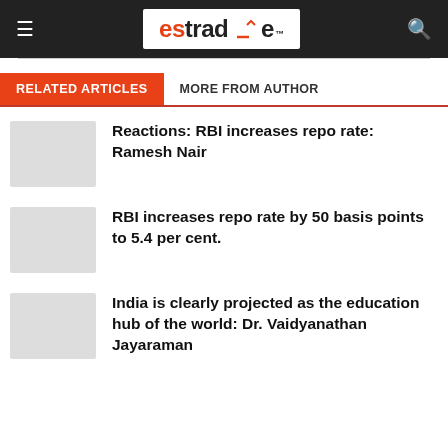estrade
RELATED ARTICLES   MORE FROM AUTHOR
Reactions: RBI increases repo rate: Ramesh Nair
RBI increases repo rate by 50 basis points to 5.4 per cent.
India is clearly projected as the education hub of the world: Dr. Vaidyanathan Jayaraman